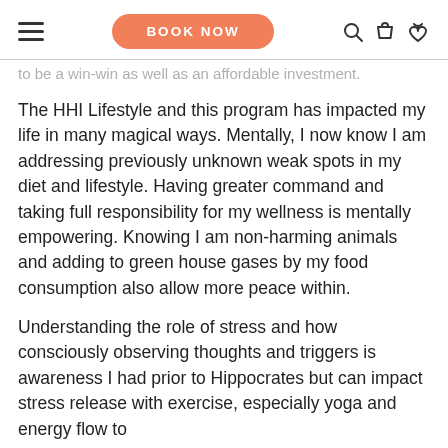BOOK NOW
to be a win-win as well as an affordable investment.
The HHI Lifestyle and this program has impacted my life in many magical ways. Mentally, I now know I am addressing previously unknown weak spots in my diet and lifestyle. Having greater command and taking full responsibility for my wellness is mentally empowering. Knowing I am non-harming animals and adding to green house gases by my food consumption also allow more peace within.
Understanding the role of stress and how consciously observing thoughts and triggers is awareness I had prior to Hippocrates but can impact stress release with exercise, especially yoga and energy flow to